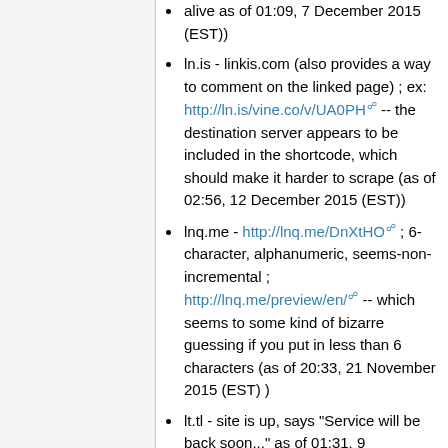alive as of 01:09, 7 December 2015 (EST))
ln.is - linkis.com (also provides a way to comment on the linked page) ; ex: http://ln.is/vine.co/v/UA0PH -- the destination server appears to be included in the shortcode, which should make it harder to scrape (as of 02:56, 12 December 2015 (EST))
lnq.me - http://lnq.me/DnXtHO ; 6-character, alphanumeric, seems-non-incremental ; http://lnq.me/preview/en/ -- which seems to some kind of bizarre guessing if you put in less than 6 characters (as of 20:33, 21 November 2015 (EST) )
lt.tl - site is up, says "Service will be back soon..." as of 01:31, 9 December 2015 (EST)